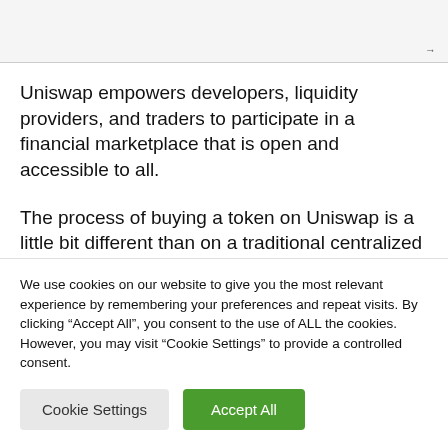[Figure (screenshot): Top navigation bar area of a webpage, partially visible with a right-pointing arrow at the bottom right.]
Uniswap empowers developers, liquidity providers, and traders to participate in a financial marketplace that is open and accessible to all.
The process of buying a token on Uniswap is a little bit different than on a traditional centralized exchange (CEX). Uniswap is a decentralized exchange (DEX) and you are not required to register or verify your...
We use cookies on our website to give you the most relevant experience by remembering your preferences and repeat visits. By clicking “Accept All”, you consent to the use of ALL the cookies. However, you may visit “Cookie Settings” to provide a controlled consent.